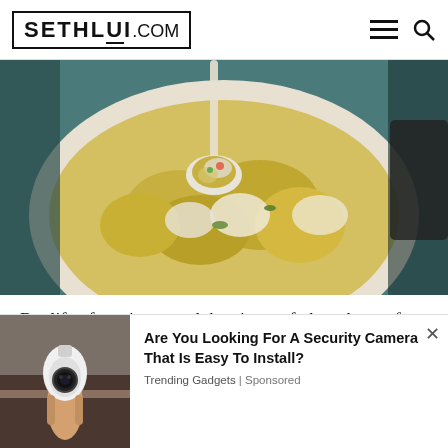SETHLUI.COM
[Figure (photo): Close-up photo of a bowl of scrambled egg and chee cheong fun dish, with a spoon lifting some pieces showing the rice rolls mixed in yellow egg]
But lift a few pieces, and the pieces of chee cheong fun become visible.
[Figure (photo): Advertisement showing a hand holding a light-bulb shaped security camera]
Are You Looking For A Security Camera That Is Easy To Install?
Trending Gadgets | Sponsored